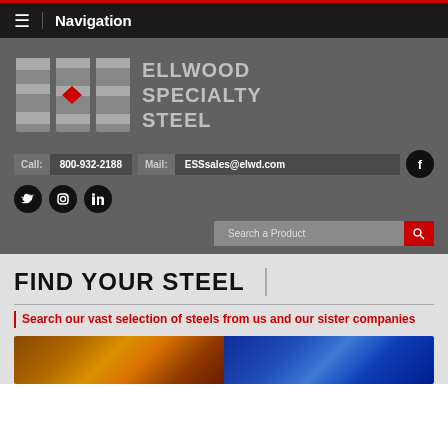Navigation
[Figure (logo): ESS Ellwood Specialty Steel logo with stylized E, S, S letters and red diamond, company name ELLWOOD SPECIALTY STEEL]
Call: 800-932-2188   Mail: ESSsales@elwd.com
FIND YOUR STEEL
Search our vast selection of steels from us and our sister companies
[Figure (photo): Industrial steel manufacturing facility photos showing orange-lit furnace area on left and blue industrial machinery on right]